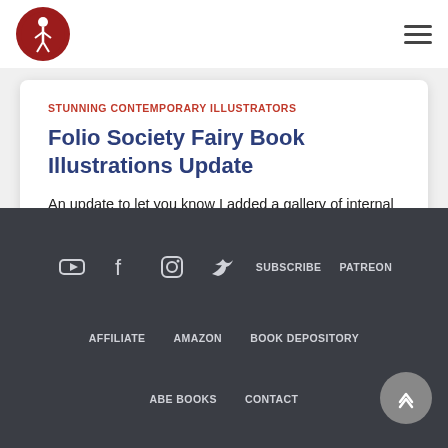[Figure (logo): Circular red logo with white figure/dancer silhouette]
[Figure (other): Hamburger menu icon (three horizontal lines)]
STUNNING CONTEMPORARY ILLUSTRATORS
Folio Society Fairy Book Illustrations Update
An update to let you know I added a gallery of internal illustrations for the Folio Society Rainbow Fairy Books.
YouTube, Facebook, Instagram, Twitter icons | SUBSCRIBE | PATREON | AFFILIATE | AMAZON | BOOK DEPOSITORY | ABE BOOKS | CONTACT